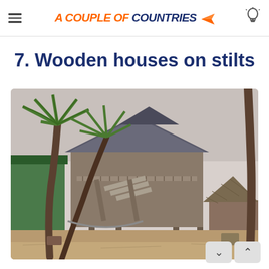A COUPLE OF COUNTRIES
atrocities, creating a big gap between the young and the elderly.
7. Wooden houses on stilts
[Figure (photo): A wooden stilt house surrounded by palm trees on sandy ground, with a thatched-roof structure to the right and green awning to the left.]